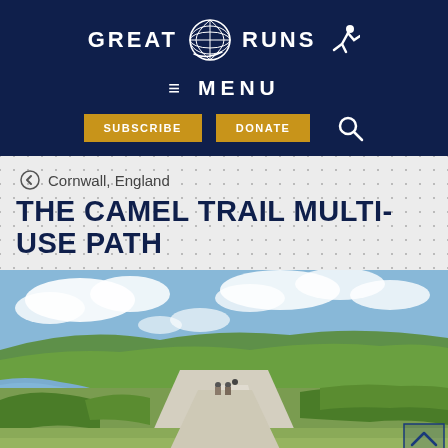GREAT RUNS — Navigation header with logo, MENU, SUBSCRIBE, DONATE buttons and search icon
Cornwall, England
THE CAMEL TRAIL MULTI-USE PATH
[Figure (photo): A wide gravel trail/path running through green countryside beside a river estuary in Cornwall, England. Blue sky with white clouds, green rolling hills, and a few cyclists visible on the path.]